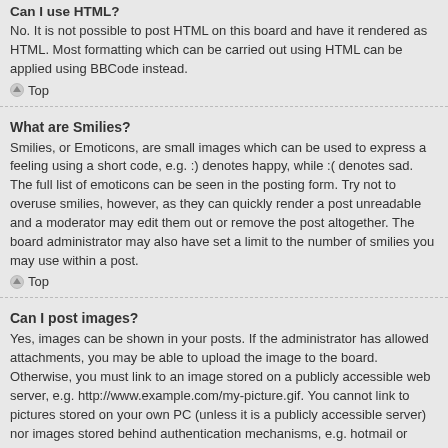No. It is not possible to post HTML on this board and have it rendered as HTML. Most formatting which can be carried out using HTML can be applied using BBCode instead.
Top
What are Smilies?
Smilies, or Emoticons, are small images which can be used to express a feeling using a short code, e.g. :) denotes happy, while :( denotes sad. The full list of emoticons can be seen in the posting form. Try not to overuse smilies, however, as they can quickly render a post unreadable and a moderator may edit them out or remove the post altogether. The board administrator may also have set a limit to the number of smilies you may use within a post.
Top
Can I post images?
Yes, images can be shown in your posts. If the administrator has allowed attachments, you may be able to upload the image to the board. Otherwise, you must link to an image stored on a publicly accessible web server, e.g. http://www.example.com/my-picture.gif. You cannot link to pictures stored on your own PC (unless it is a publicly accessible server) nor images stored behind authentication mechanisms, e.g. hotmail or yahoo mailboxes, password protected sites, etc. To display the image use the BBCode [img] tag.
Top
What are global announcements?
Global announcements contain important information and you should read them whenever possible. They will appear at the top of every forum and within your User Control Panel. Global announcement permissions are granted by the board administrator.
Top